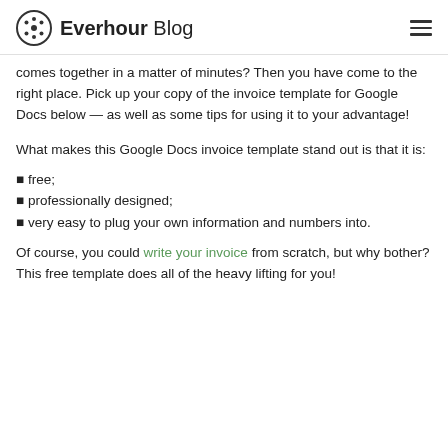Everhour Blog
comes together in a matter of minutes? Then you have come to the right place. Pick up your copy of the invoice template for Google Docs below — as well as some tips for using it to your advantage!
What makes this Google Docs invoice template stand out is that it is:
free;
professionally designed;
very easy to plug your own information and numbers into.
Of course, you could write your invoice from scratch, but why bother? This free template does all of the heavy lifting for you!